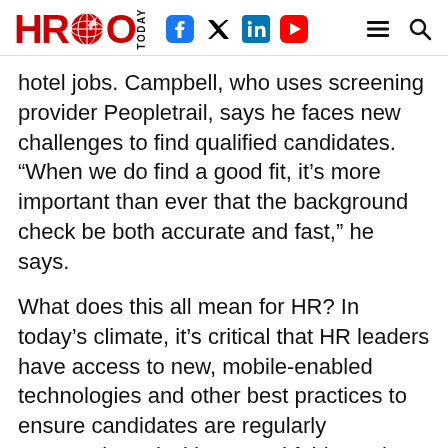HRO TODAY
hotel jobs. Campbell, who uses screening provider Peopletrail, says he faces new challenges to find qualified candidates. “When we do find a good fit, it’s more important than ever that the background check be both accurate and fast,” he says.
What does this all mean for HR? In today’s climate, it’s critical that HR leaders have access to new, mobile-enabled technologies and other best practices to ensure candidates are regularly communicated with, treated fairly, and